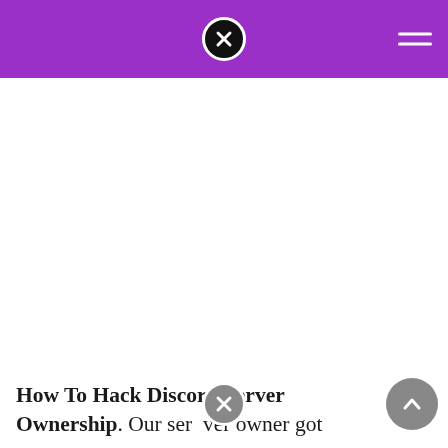How To Hack Discord Server Ownership. Our server owner got